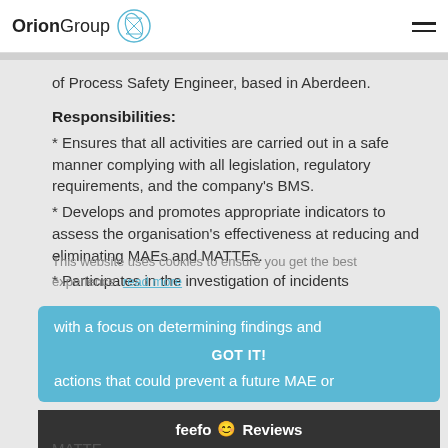Orion Group
of Process Safety Engineer, based in Aberdeen.
Responsibilities:
* Ensures that all activities are carried out in a safe manner complying with all legislation, regulatory requirements, and the company's BMS.
* Develops and promotes appropriate indicators to assess the organisation's effectiveness at reducing and eliminating MAEs and MATTEs.
* Participates in the investigation of incidents with a focus on determining findings and actions that could prevent a future MAE or MATTE.